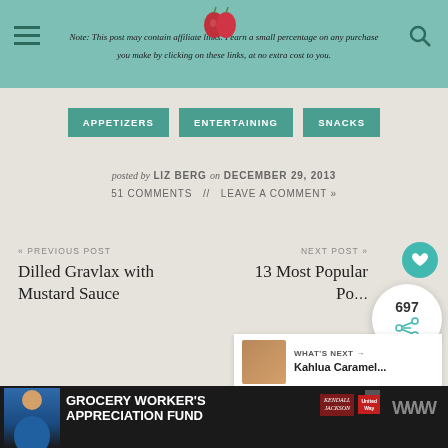Note: This post may contain affiliate links. I earn a small percentage on any purchase you make by clicking on these links, at no extra cost to you.
APPETIZERS // ENTERTAINING // SNACKS
posted by LIZ BERG on DECEMBER 29, 2013
51 COMMENTS // LEAVE A COMMENT »
« PREVIOUS POST
Dilled Gravlax with Mustard Sauce
NEXT POST »
13 Most Popular Pos...
[Figure (screenshot): What's Next widget showing Kahlua Caramel...]
[Figure (infographic): Grocery Worker's Appreciation Fund advertisement with Kendall-Jackson and United Way logos]